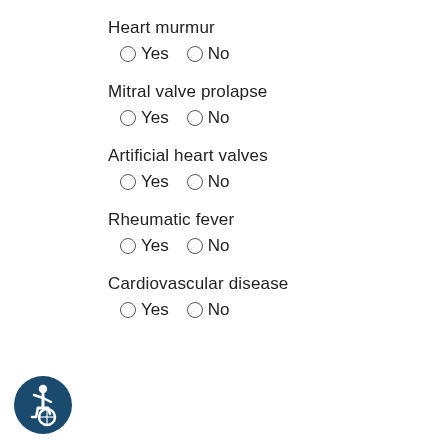Heart murmur
Yes / No (radio options)
Mitral valve prolapse
Yes / No (radio options)
Artificial heart valves
Yes / No (radio options)
Rheumatic fever
Yes / No (radio options)
Cardiovascular disease
Yes / No (radio options)
[Figure (logo): Wheelchair accessibility icon — circular blue badge with white wheelchair user symbol]